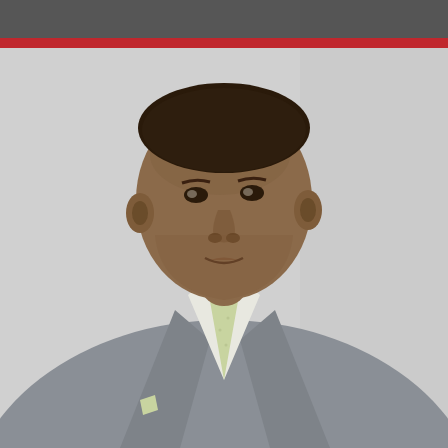[Figure (photo): Professional headshot of a man wearing a grey suit with a light green tie and pocket square, photographed against a light grey background. A dark grey bar overlays the top of the image with a red horizontal stripe beneath it.]